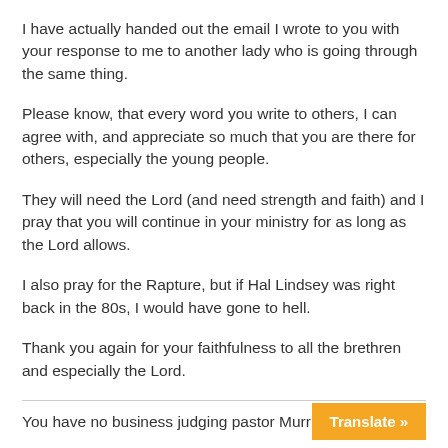I have actually handed out the email I wrote to you with your response to me to another lady who is going through the same thing.
Please know, that every word you write to others, I can agree with, and appreciate so much that you are there for others, especially the young people.
They will need the Lord (and need strength and faith) and I pray that you will continue in your ministry for as long as the Lord allows.
I also pray for the Rapture, but if Hal Lindsey was right back in the 80s, I would have gone to hell.
Thank you again for your faithfulness to all the brethren and especially the Lord.
You have no business judging pastor Murr…